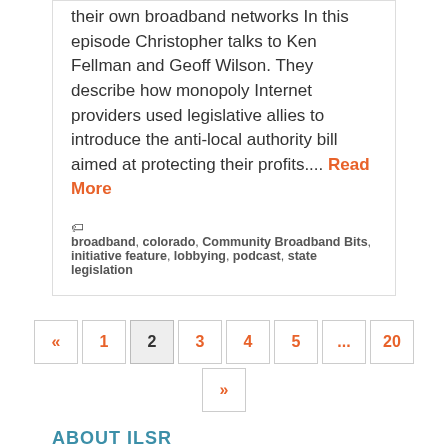their own broadband networks In this episode Christopher talks to Ken Fellman and Geoff Wilson. They describe how monopoly Internet providers used legislative allies to introduce the anti-local authority bill aimed at protecting their profits.... Read More
broadband, colorado, Community Broadband Bits, initiative feature, lobbying, podcast, state legislation
[Figure (other): Pagination navigation with buttons: «, 1, 2 (current), 3, 4, 5, ..., 20, and »]
ABOUT ILSR
About ILSR
Staff and Board